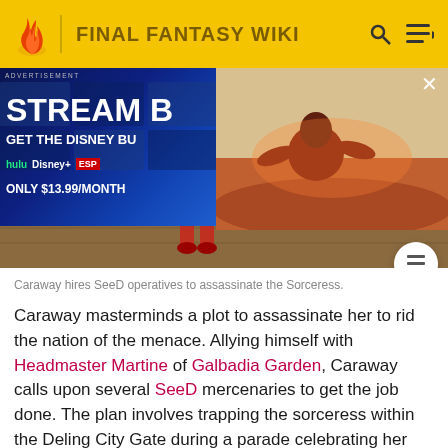FINAL FANTASY WIKI
[Figure (screenshot): Advertisement overlay showing Disney Bundle streaming offer (STREAM B... GET THE DISNEY BU... hulu Disney+ ESPN ONLY $13.99/MONTH) with a video popup showing a character in desert landscape, and a table of contents icon button.]
Caraway hires SeeD operatives to assassinate the Sorceress.
Caraway masterminds a plot to assassinate her to rid the nation of the menace. Allying himself with Headmaster Martine of Galbadia Garden, Caraway calls upon several SeeD mercenaries to get the job done. The plan involves trapping the sorceress within the Deling City Gate during a parade celebrating her inauguration as Galbadian